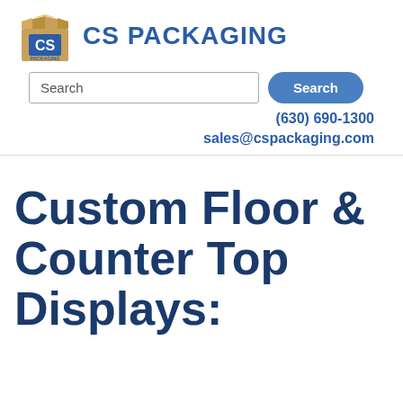[Figure (logo): CS Packaging logo: cardboard box icon with 'CS' text inside, and 'CS PACKAGING' text in blue to the right]
Search
(630) 690-1300
sales@cspackaging.com
Custom Floor & Counter Top Displays: